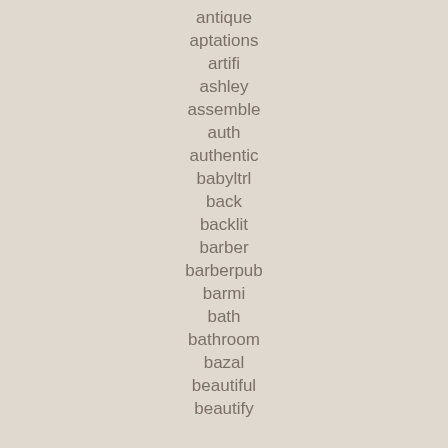antique
aptations
artifi
ashley
assemble
auth
authentic
babyltrl
back
backlit
barber
barberpub
barmi
bath
bathroom
bazal
beautiful
beautify